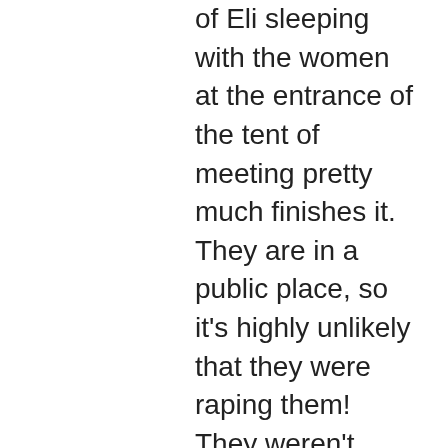of Eli sleeping with the women at the entrance of the tent of meeting pretty much finishes it. They are in a public place, so it's highly unlikely that they were raping them! They weren't abusing them (in the sense of a forcible rape). They were abusing them in the same way masturbation is an abuse of the self. The sound much more like prostitutes.
Now, that doesn't change your result, or your conclusion at all. They still are saved by the same Messiah the rest of the people are. And I would find the mirrors of prostitutes more of a redemption story than anything else. Something tainted taken, restored and